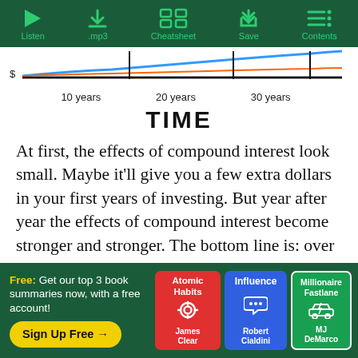Listen | .mp3 | Cheatsheet | Save | Contents
[Figure (continuous-plot): Partial line/area chart showing compound interest growth over time with x-axis labels: 10 years, 20 years, 30 years, and y-axis label: $]
TIME
At first, the effects of compound interest look small. Maybe it'll give you a few extra dollars in your first years of investing. But year after year the effects of compound interest become stronger and stronger. The bottom line is: over a long term, compound
[Figure (infographic): Promotional banner: Free: Get our top 3 book summaries now, with a free account! Sign Up Free → with book covers: Atomic Habits by James Clear, Influence by Robert Cialdini, Millionaire Fastlane by MJ DeMarco]